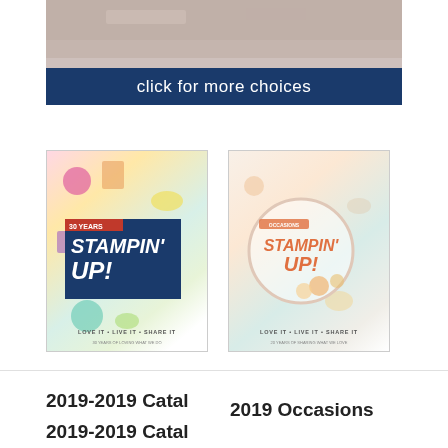[Figure (photo): Top portion of a photo showing crafting supplies on a light wooden tray background]
[Figure (infographic): Dark navy blue banner with white text reading 'click for more choices']
[Figure (photo): Stampin' Up! annual catalog cover - 30 Years edition with dark blue box logo, colorful craft supplies, LOVE IT + LIVE IT + SHARE IT tagline]
[Figure (photo): Stampin' Up! Occasions catalog cover with circular design, peach/coral logo, floral decorations, LOVE IT + LIVE IT + SHARE IT tagline]
2019 Occasions